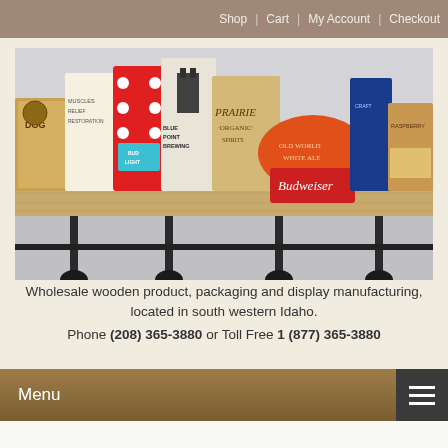Shop | Cart | My Account | Checkout
[Figure (photo): Shelf display of various wooden product packages and branded items including Bud Light, Blue Point Brewing, Prairie Organic, Budweiser, and other decorative wooden blocks on a metal pipe shelf.]
Wholesale wooden product, packaging and display manufacturing, located in south western Idaho.
Phone (208) 365-3880 or Toll Free 1 (877) 365-3880
Menu